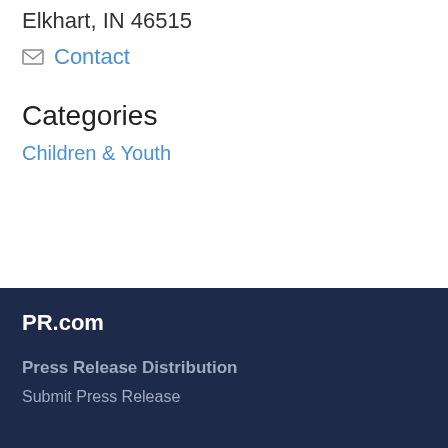Elkhart, IN 46515
Contact
Categories
Children & Youth
PR.com
Press Release Distribution
Submit Press Release